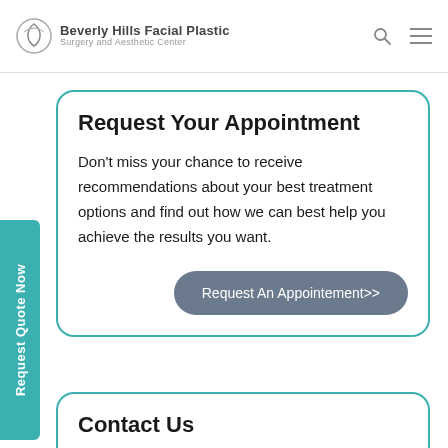Beverly Hills Facial Plastic Surgery and Aesthetic Center
Request Your Appointment
Don't miss your chance to receive recommendations about your best treatment options and find out how we can best help you achieve the results you want.
Request An Appointement>>
Contact Us